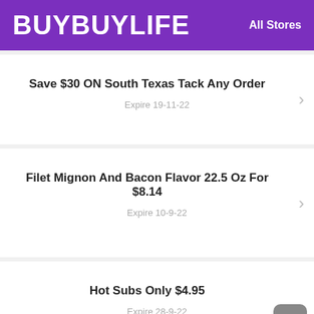BUYBUYLIFE   All Stores
Save $30 ON South Texas Tack Any Order
Expire 19-11-22
Filet Mignon And Bacon Flavor 22.5 Oz For $8.14
Expire 10-9-22
Hot Subs Only $4.95
Expire 28-9-22